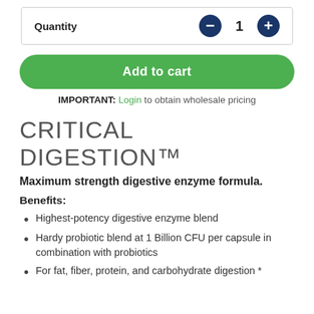Quantity  —  1  +
Add to cart
IMPORTANT: Login to obtain wholesale pricing
CRITICAL DIGESTION™
Maximum strength digestive enzyme formula.
Benefits:
Highest-potency digestive enzyme blend
Hardy probiotic blend at 1 Billion CFU per capsule in combination with probiotics
For fat, fiber, protein, and carbohydrate digestion *